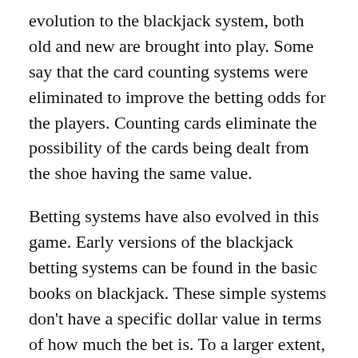evolution to the blackjack system, both old and new are brought into play. Some say that the card counting systems were eliminated to improve the betting odds for the players. Counting cards eliminate the possibility of the cards being dealt from the shoe having the same value.
Betting systems have also evolved in this game. Early versions of the blackjack betting systems can be found in the basic books on blackjack. These simple systems don't have a specific dollar value in terms of how much the bet is. To a larger extent, the values of the bet are in proportion to the size of the initial bet when the system is in use.
Casinos in Las Vegas are Puzzle pieces, Dewabet casinos in Las Vegas and Monte Carlo are very rich in slot machines, and Professionally run card rooms are offering many perks to attract the people and